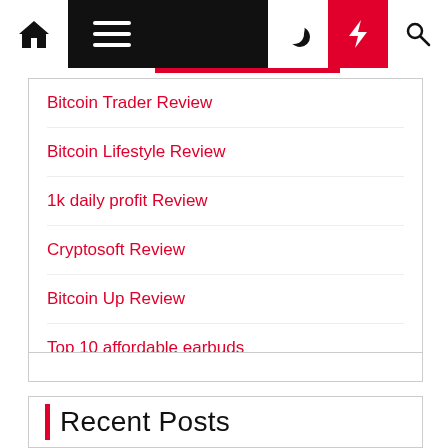Navigation bar with home, menu, moon, bolt, and search icons
Bitcoin Trader Review
Bitcoin Lifestyle Review
1k daily profit Review
Cryptosoft Review
Bitcoin Up Review
Top 10 affordable earbuds
Recent Posts